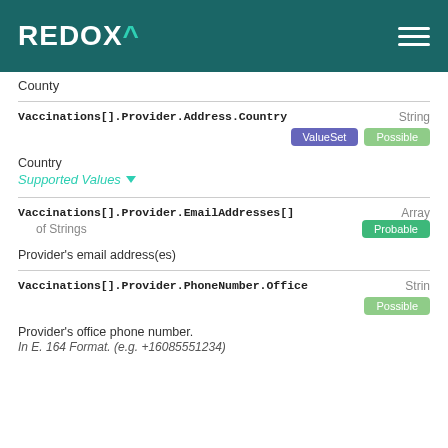REDOX^
County
Vaccinations[].Provider.Address.Country   String
ValueSet   Possible
Country
Supported Values
Vaccinations[].Provider.EmailAddresses[]   Array of Strings
Probable
Provider's email address(es)
Vaccinations[].Provider.PhoneNumber.Office   String
Possible
Provider's office phone number.
In E. 164 Format. (e.g. +16085551234)